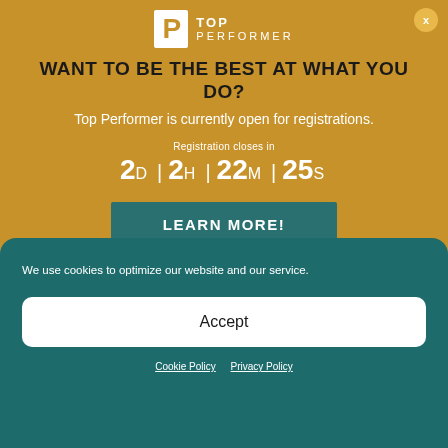[Figure (logo): Top Performer logo with white P icon and TOP PERFORMER text in white on gold background]
WANT TO BE THE BEST AT WHAT YOU DO?
Top Performer is currently open for registrations.
Registration closes in
2 D | 2 H | 22 M | 25 S
LEARN MORE!
We use cookies to optimize our website and our service.
Accept
Cookie Policy   Privacy Policy